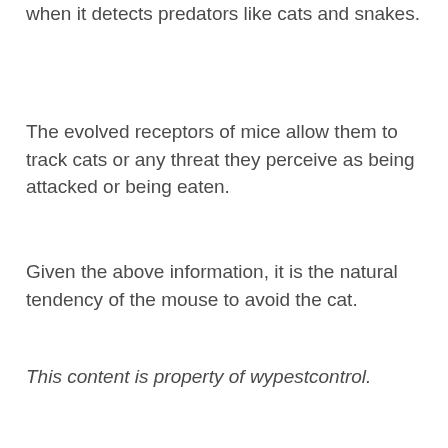when it detects predators like cats and snakes.
The evolved receptors of mice allow them to track cats or any threat they perceive as being attacked or being eaten.
Given the above information, it is the natural tendency of the mouse to avoid the cat.
This content is property of wypestcontrol.